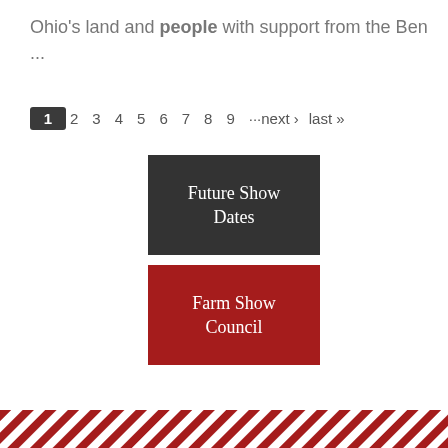Ohio's land and people with support from the Ben ...
1 2 3 4 5 6 7 8 9 ···next › last »
[Figure (other): Dark grey button labeled 'Future Show Dates']
[Figure (other): Red button labeled 'Farm Show Council']
[Figure (other): Red and white diagonal stripe pattern footer decoration]